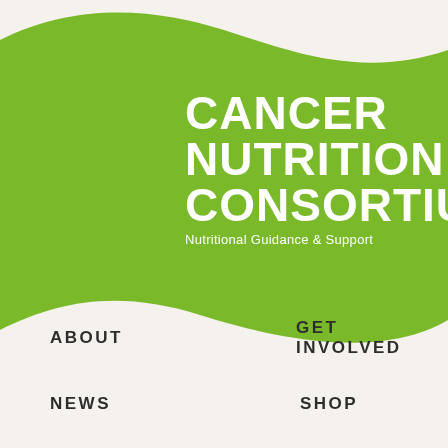[Figure (illustration): Green wave/swoosh shape covering the top portion of the page, serving as background for the Cancer Nutrition Consortium logo. The background outside the wave is a light beige/cream color.]
CANCER NUTRITION CONSORTIUM
Nutritional Guidance & Support
ABOUT
GET INVOLVED
NEWS
SHOP
RECIPES
DONATE